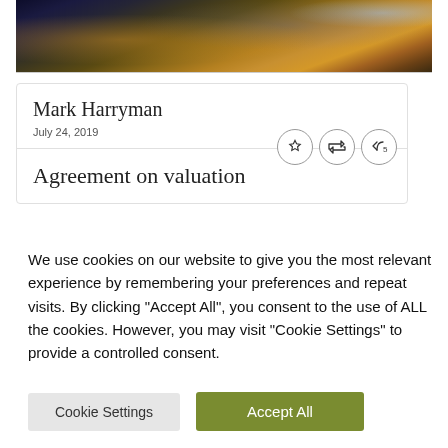[Figure (photo): Aerial night view of a city with lit streets and buildings]
Mark Harryman
July 24, 2019
Agreement on valuation
We use cookies on our website to give you the most relevant experience by remembering your preferences and repeat visits. By clicking “Accept All”, you consent to the use of ALL the cookies. However, you may visit “Cookie Settings” to provide a controlled consent.
Cookie Settings
Accept All